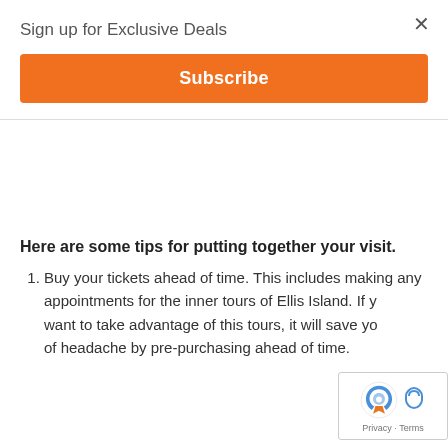Sign up for Exclusive Deals
[Figure (other): Orange Subscribe button]
Here are some tips for putting together your visit.
Buy your tickets ahead of time. This includes making any appointments for the inner tours of Ellis Island. If you want to take advantage of this tours, it will save you a lot of headache by pre-purchasing ahead of time.